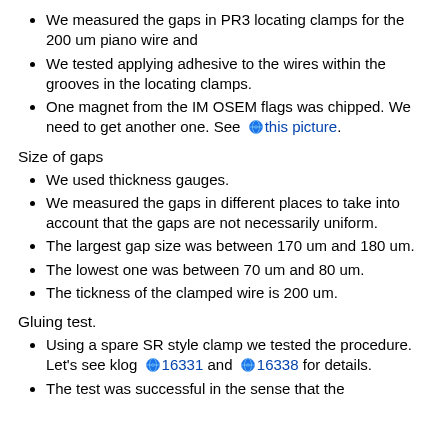We measured the gaps in PR3 locating clamps for the 200 um piano wire and
We tested applying adhesive to the wires within the grooves in the locating clamps.
One magnet from the IM OSEM flags was chipped. We need to get another one. See this picture.
Size of gaps
We used thickness gauges.
We measured the gaps in different places to take into account that the gaps are not necessarily uniform.
The largest gap size was between 170 um and 180 um.
The lowest one was between 70 um and 80 um.
The tickness of the clamped wire is 200 um.
Gluing test.
Using a spare SR style clamp we tested the procedure. Let's see klog 16331 and 16338 for details.
The test was successful in the sense that the